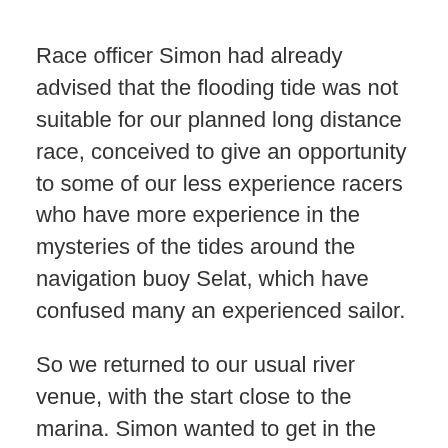Race officer Simon had already advised that the flooding tide was not suitable for our planned long distance race, conceived to give an opportunity to some of our less experience racers who have more experience in the mysteries of the tides around the navigation buoy Selat, which have confused many an experienced sailor.
So we returned to our usual river venue, with the start close to the marina. Simon wanted to get in the promised two races to have seven in total with two discards. The first, a windward/leeward with a very equal start against the tide, was